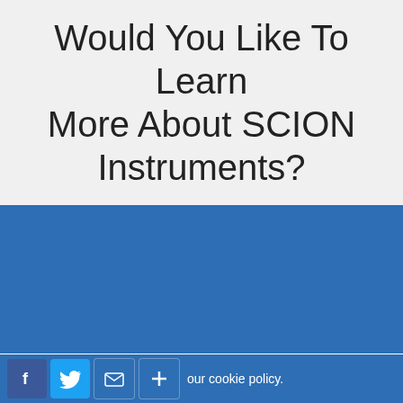Would You Like To Learn More About SCION Instruments?
We use cookies to improve your browsing experience and in some instances retrieve generic user details such as Google Analytics for each visit. Cookies are also used in some areas of our site to enable functionality. By continuing to use the site, you agree to the use of cookies. To find out how to manage and disable cookies please our cookie policy.
f [Twitter] [Mail] + our cookie policy.